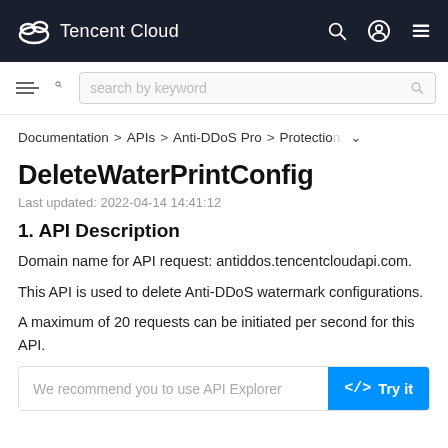Tencent Cloud
search by keyword
Documentation > APIs > Anti-DDoS Pro > Protection
DeleteWaterPrintConfig
Last updated: 2022-04-14 14:41:12
1. API Description
Domain name for API request: antiddos.tencentcloudapi.com.
This API is used to delete Anti-DDoS watermark configurations.
A maximum of 20 requests can be initiated per second for this API.
We recommend you to use API Explorer    Try it